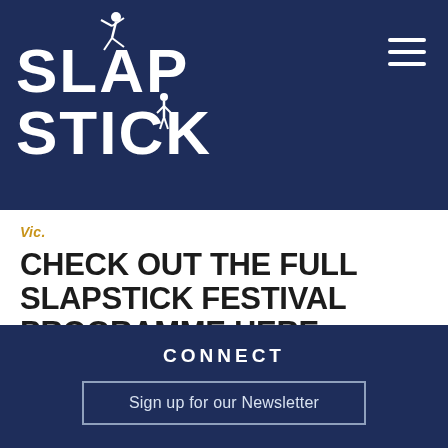[Figure (logo): Slapstick Festival logo — white stylized text 'SLAPSTICK' with acrobatic figure characters integrated into the letters, on dark navy background]
Vic.
CHECK OUT THE FULL SLAPSTICK FESTIVAL PROGRAMME HERE.
CONNECT
Sign up for our Newsletter